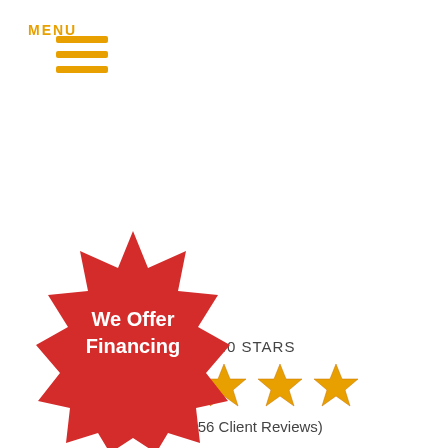[Figure (logo): Hamburger menu icon with three orange horizontal lines and MENU label in orange]
RATED 5.0 STARS
[Figure (infographic): Five gold stars representing a 5.0 rating]
(Based on 56 Client Reviews)
CALL US 501-502-2323
CONTACT US
[Figure (infographic): Red starburst badge with white text reading We Offer Financing]